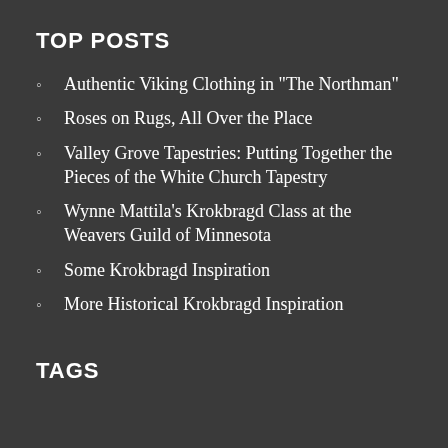TOP POSTS
Authentic Viking Clothing in "The Northman"
Roses on Rugs, All Over the Place
Valley Grove Tapestries: Putting Together the Pieces of the White Church Tapestry
Wynne Mattila's Krokbragd Class at the Weavers Guild of Minnesota
Some Krokbragd Inspiration
More Historical Krokbragd Inspiration
TAGS